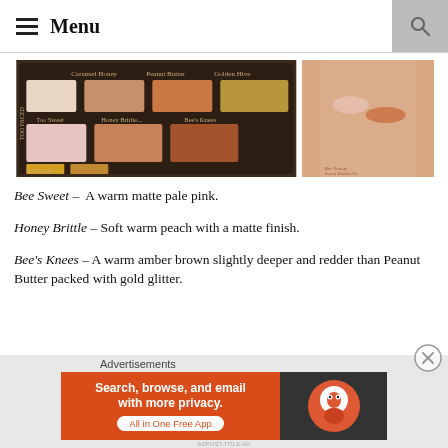Menu
[Figure (photo): Two-panel image: left panel shows a Too Faced eyeshadow palette with shades including Bee Sweet (pale pink matte), Honey Brittle (peach matte), and Bee's Knees (amber brown glitter), along with other shades like Creamed Honey, Peanut Butter, and Golden Hive. Right panel shows skin swatches of the colors.]
Bee Sweet – A warm matte pale pink.
Honey Brittle – Soft warm peach with a matte finish.
Bee's Knees – A warm amber brown slightly deeper and redder than Peanut Butter packed with gold glitter.
Advertisements